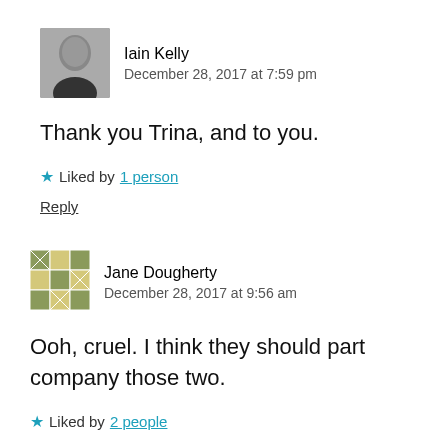[Figure (photo): Avatar photo of Iain Kelly - grayscale headshot]
Iain Kelly
December 28, 2017 at 7:59 pm
Thank you Trina, and to you.
★ Liked by 1 person
Reply
[Figure (illustration): Avatar image of Jane Dougherty - quilt/geometric pattern]
Jane Dougherty
December 28, 2017 at 9:56 am
Ooh, cruel. I think they should part company those two.
★ Liked by 2 people